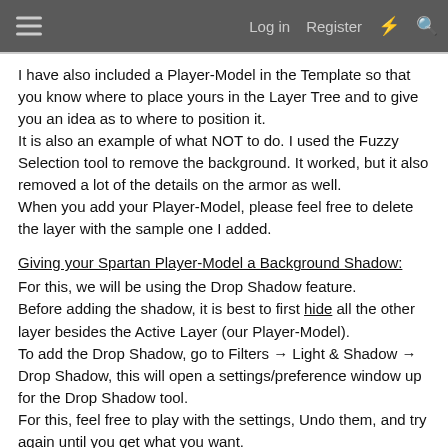≡  Log in  Register  ⚡  🔍
I have also included a Player-Model in the Template so that you know where to place yours in the Layer Tree and to give you an idea as to where to position it.
It is also an example of what NOT to do. I used the Fuzzy Selection tool to remove the background. It worked, but it also removed a lot of the details on the armor as well.
When you add your Player-Model, please feel free to delete the layer with the sample one I added.
Giving your Spartan Player-Model a Background Shadow:
For this, we will be using the Drop Shadow feature.
Before adding the shadow, it is best to first hide all the other layer besides the Active Layer (our Player-Model).
To add the Drop Shadow, go to Filters → Light & Shadow → Drop Shadow, this will open a settings/preference window up for the Drop Shadow tool.
For this, feel free to play with the settings, Undo them, and try again until you get what you want.